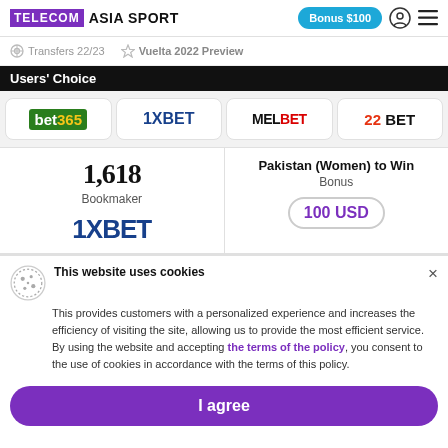TELECOM ASIA SPORT | Bonus $100
Transfers 22/23   Vuelta 2022 Preview
Users' Choice
[Figure (logo): Row of bookmaker logos: bet365, 1XBET, MELBET, 22BET]
|  |  |
| --- | --- |
| 1,618 | Pakistan (Women) to Win |
| Bookmaker | Bonus |
| 1XBET | 100 USD |
This website uses cookies
This provides customers with a personalized experience and increases the efficiency of visiting the site, allowing us to provide the most efficient service. By using the website and accepting the terms of the policy, you consent to the use of cookies in accordance with the terms of this policy.
I agree